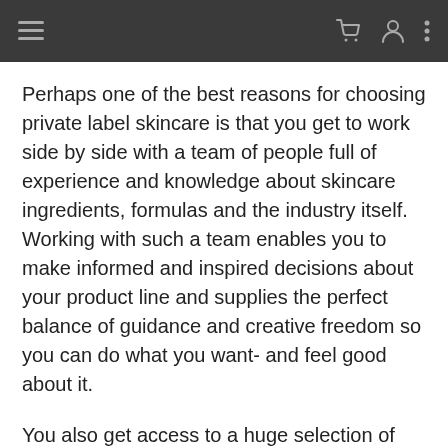Navigation bar with hamburger menu, cart icon, user icon, and options icon
Perhaps one of the best reasons for choosing private label skincare is that you get to work side by side with a team of people full of experience and knowledge about skincare ingredients, formulas and the industry itself. Working with such a team enables you to make informed and inspired decisions about your product line and supplies the perfect balance of guidance and creative freedom so you can do what you want- and feel good about it.
You also get access to a huge selection of the finest and highest quality skincare ingredients for your products. This ensures the highest levels of efficacy for your products so your customers keep coming